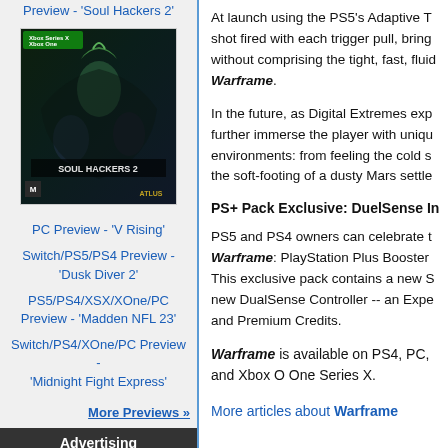Preview - 'Soul Hackers 2'
[Figure (photo): Box art for Soul Hackers 2 - Xbox Series X / Xbox One edition, rated M]
PC Preview - 'V Rising'
Switch/PS5/PS4 Preview - 'Dusk Diver 2'
PS5/PS4/XSX/XOne/PC Preview - 'Madden NFL 23'
Switch/PS4/XOne/PC Preview - 'Midnight Fight Express'
More Previews »
Advertising
At launch using the PS5's Adaptive T shot fired with each trigger pull, bring without comprising the tight, fast, fluid Warframe.
In the future, as Digital Extremes exp further immerse the player with uniqu environments: from feeling the cold s the soft-footing of a dusty Mars settle
PS+ Pack Exclusive: DuelSense In
PS5 and PS4 owners can celebrate t Warframe: PlayStation Plus Booster This exclusive pack contains a new S new DualSense Controller -- an Expe and Premium Credits.
Warframe is available on PS4, PC, and Xbox One Series X.
More articles about Warframe